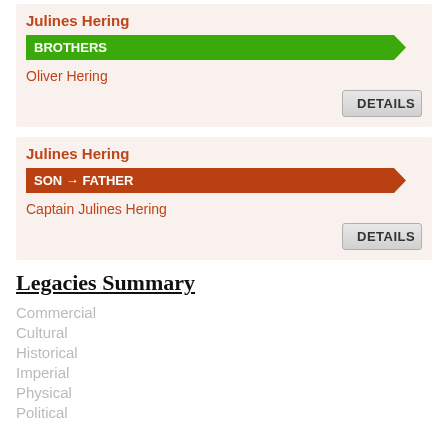Julines Hering
BROTHERS
Oliver Hering
DETAILS
Julines Hering
SON → FATHER
Captain Julines Hering
DETAILS
Legacies Summary
Commercial
Cultural
Historical
Imperial
Physical
Political